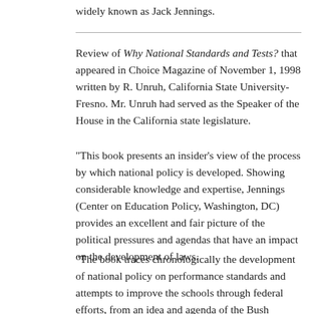widely known as Jack Jennings.
Review of Why National Standards and Tests? that appeared in Choice Magazine of November 1, 1998 written by R. Unruh, California State University-Fresno. Mr. Unruh had served as the Speaker of the House in the California state legislature.
“This book presents an insider’s view of the process by which national policy is developed. Showing considerable knowledge and expertise, Jennings (Center on Education Policy, Washington, DC) provides an excellent and fair picture of the political pressures and agendas that have an impact on the development of laws.
“The book traces chronologically the development of national policy on performance standards and attempts to improve the schools through federal efforts, from an idea and agenda of the Bush